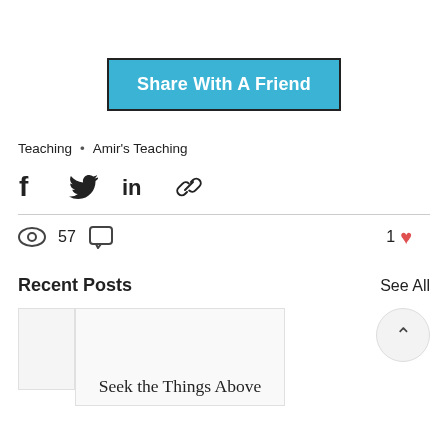[Figure (other): A teal/blue button labeled 'Share With A Friend' with a dark border]
Teaching • Amir's Teaching
[Figure (other): Social share icons: Facebook, Twitter, LinkedIn, Link/chain]
[Figure (other): Stats row: eye icon with 57 views, comment icon, and 1 heart (like)]
Recent Posts
See All
[Figure (other): Post card with text 'Seek the Things Above' and a circular scroll-up button]